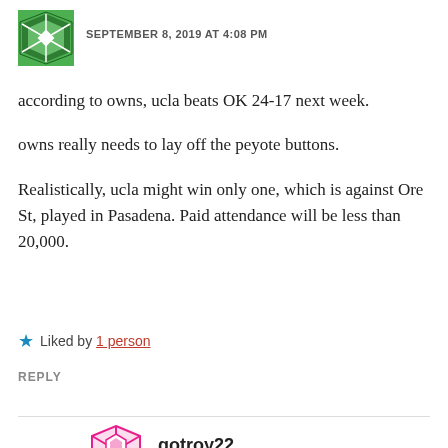SEPTEMBER 8, 2019 AT 4:08 PM
according to owns, ucla beats OK 24-17 next week.
owns really needs to lay off the peyote buttons.
Realistically, ucla might win only one, which is against Ore St, played in Pasadena. Paid attendance will be less than 20,000.
Liked by 1 person
REPLY
gotroy22